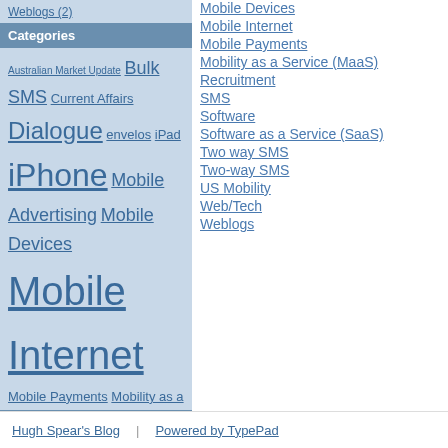Weblogs (2)
Categories
Australian Market Update Bulk SMS Current Affairs Dialogue envelos iPad iPhone Mobile Advertising Mobile Devices Mobile Internet Mobile Payments Mobility as a Service (MaaS) Recruitment SMS Software Software as a Service (SaaS) Two way SMS Two-way SMS US Mobility Web/Tech Weblogs
RSS Feed
Mobile Devices
Mobile Internet
Mobile Payments
Mobility as a Service (MaaS)
Recruitment
SMS
Software
Software as a Service (SaaS)
Two way SMS
Two-way SMS
US Mobility
Web/Tech
Weblogs
Hugh Spear's Blog | Powered by TypePad